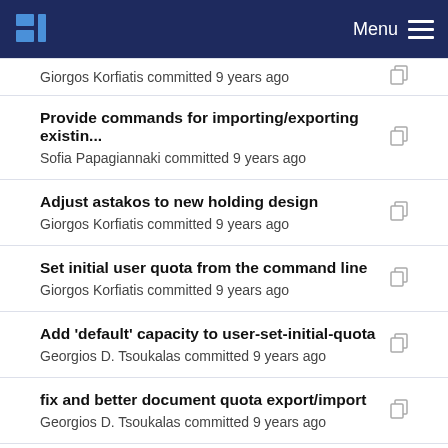Menu
Giorgos Korfiatis committed 9 years ago
Provide commands for importing/exporting existin... Sofia Papagiannaki committed 9 years ago
Adjust astakos to new holding design Giorgos Korfiatis committed 9 years ago
Set initial user quota from the command line Giorgos Korfiatis committed 9 years ago
Add 'default' capacity to user-set-initial-quota Georgios D. Tsoukalas committed 9 years ago
fix and better document quota export/import Georgios D. Tsoukalas committed 9 years ago
Set initial user quota from the command line Giorgos Korfiatis committed 9 years ago